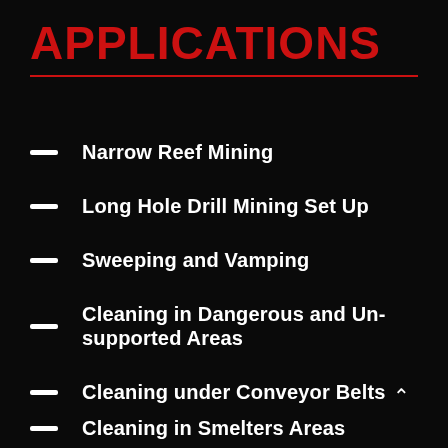APPLICATIONS
Narrow Reef Mining
Long Hole Drill Mining Set Up
Sweeping and Vamping
Cleaning in Dangerous and Un-supported Areas
Cleaning under Conveyor Belts
Cleaning in Smelters Areas